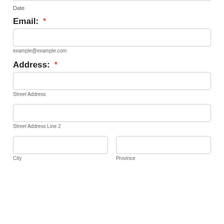Date
Email:  *
example@example.com
Address:  *
Street Address
Street Address Line 2
City
Province